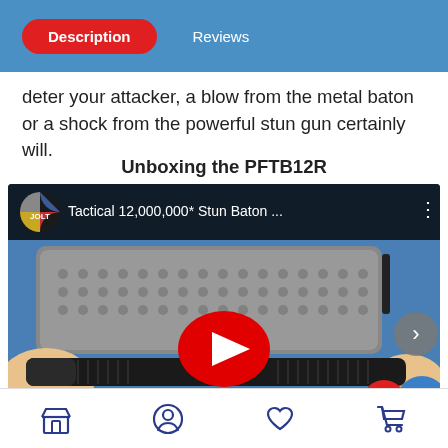Description | Reviews
deter your attacker, a blow from the metal baton or a shock from the powerful stun gun certainly will.
Unboxing the PFTB12R
[Figure (screenshot): YouTube video thumbnail showing a tactical stun baton unboxing. Title reads: 'Tactical 12,000,000* Stun Baton ...' with JOLT logo. Image shows foam case, baton, and batteries on blue background. Red YouTube play button in center.]
Navigation bar with store, profile, favorites, and cart icons